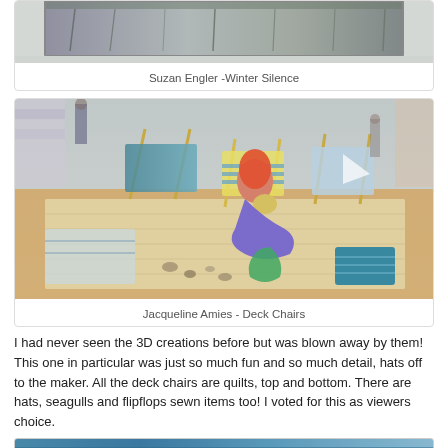[Figure (photo): Top portion of a textile artwork displayed on a wall, showing a wintry landscape scene in muted tones, partially cropped at top]
Suzan Engler -Winter Silence
[Figure (photo): A 3D quilt art display showing a mermaid figure reclining among miniature deck chairs arranged on a sandy platform, with various sewn accessories including hats, seagulls and flipflops. Exhibition hall visible in background.]
Jacqueline Amies - Deck Chairs
I had never seen the 3D creations before but was blown away by them!  This one in particular was just so much fun and so much detail, hats off to the maker.  All the deck chairs are quilts, top and bottom.  There are hats, seagulls and flipflops sewn items too!  I voted for this as viewers choice.
[Figure (photo): Bottom strip of a photo, partially visible, showing blue tones - likely another quilt or textile artwork]